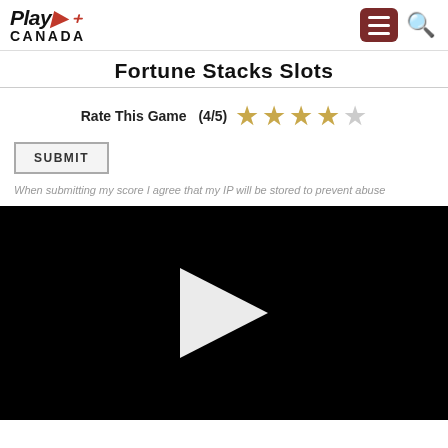PlayCanada
Fortune Stacks Slots
Rate This Game  (4/5)  ★★★★☆
SUBMIT
When submitting my score I agree that my IP will be stored to prevent abuse
[Figure (screenshot): Black video player area with a white play button triangle in the center]